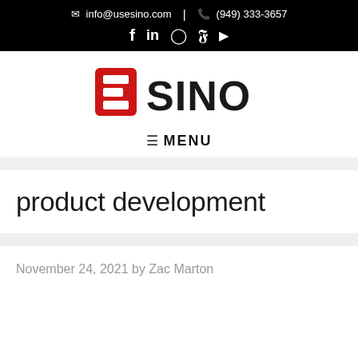info@usesino.com | (949) 333-3657
[Figure (logo): ESINO logo with red E and black SINO text]
☰ MENU
product development
November 24, 2021 by Zac Marton